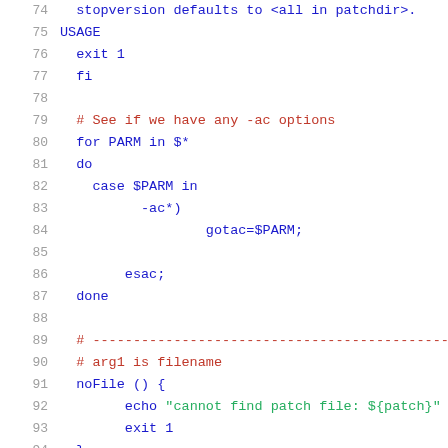74    stopversion defaults to <all in patchdir>.
75  USAGE
76    exit 1
77    fi
78
79    # See if we have any -ac options
80    for PARM in $*
81    do
82      case $PARM in
83            -ac*)
84                    gotac=$PARM;
85
86          esac;
87    done
88
89    # --------------------------------------------------------
90    # arg1 is filename
91    noFile () {
92          echo "cannot find patch file: ${patch}"
93          exit 1
94    }
95